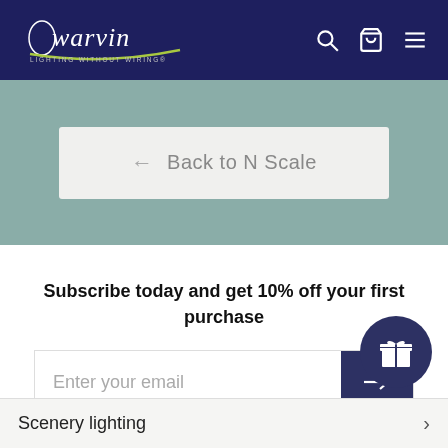Dwarvin — Lighting Without Wiring®
← Back to N Scale
Subscribe today and get 10% off your first purchase
Enter your email
Scenery lighting >